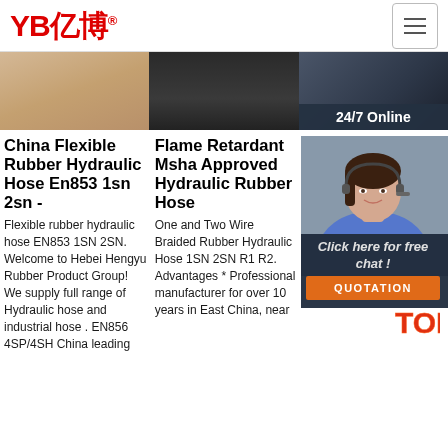YB亿博® [navigation logo with hamburger menu]
[Figure (photo): Three product image thumbnails: warm-toned rubber hose close-up, dark rubber fitting, and industrial dark background with 24/7 Online badge]
China Flexible Rubber Hydraulic Hose En853 1sn 2sn -
Flexible rubber hydraulic hose EN853 1SN 2SN. Welcome to Hebei Hengyu Rubber Product Group! We supply full range of Hydraulic hose and industrial hose . EN856 4SP/4SH China leading
Flame Retardant Msha Approved Hydraulic Rubber Hose
One and Two Wire Braided Rubber Hydraulic Hose 1SN 2SN R1 R2. Advantages * Professional manufacturer for over 10 years in East China, near
MS Ap Co Inc Ho
High Approved Comp Industrial Hose Flame Resistant EN853 1SN 2SN from China. China's leading Hydraulic Rubber Hose service, with strict quality control Hi
[Figure (photo): Customer service representative with headset smiling, overlay with 'Click here for free chat!' text, orange QUOTATION button, and red/orange TOP badge]